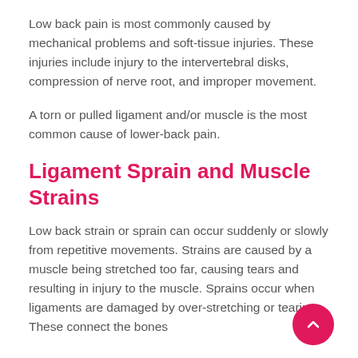Low back pain is most commonly caused by mechanical problems and soft-tissue injuries. These injuries include injury to the intervertebral disks, compression of nerve root, and improper movement.
A torn or pulled ligament and/or muscle is the most common cause of lower-back pain.
Ligament Sprain and Muscle Strains
Low back strain or sprain can occur suddenly or slowly from repetitive movements. Strains are caused by a muscle being stretched too far, causing tears and resulting in injury to the muscle. Sprains occur when ligaments are damaged by over-stretching or tearing. These connect the bones